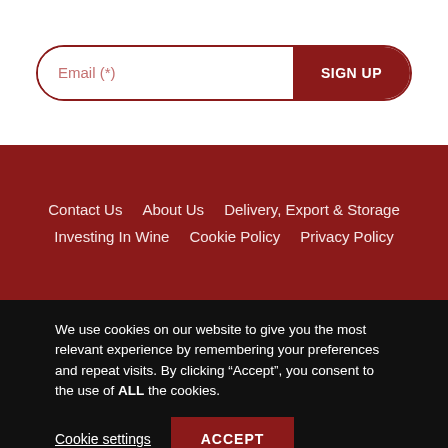[Figure (other): Email signup form with text input field labeled 'Email (*)' and a dark red 'SIGN UP' button, styled with rounded corners and a red border]
Contact Us   About Us   Delivery, Export & Storage   Investing In Wine   Cookie Policy   Privacy Policy
We use cookies on our website to give you the most relevant experience by remembering your preferences and repeat visits. By clicking “Accept”, you consent to the use of ALL the cookies.
Cookie settings   ACCEPT